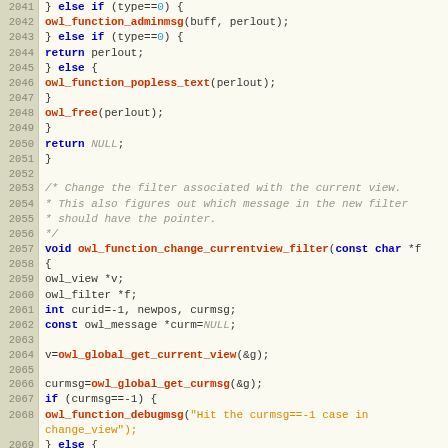[Figure (screenshot): Source code viewer showing C code lines 2041-2072 with line numbers, syntax highlighting on a light yellow/cream background. Keywords in blue bold, function names in red bold, comments in gray italic, string literals in orange, numeric literals in blue.]